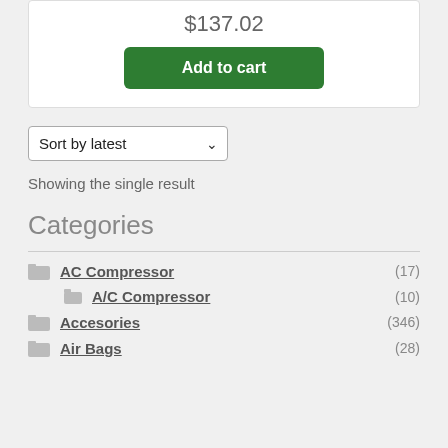$137.02
Add to cart
Sort by latest
Showing the single result
Categories
AC Compressor (17)
A/C Compressor (10)
Accesories (346)
Air Bags (28)